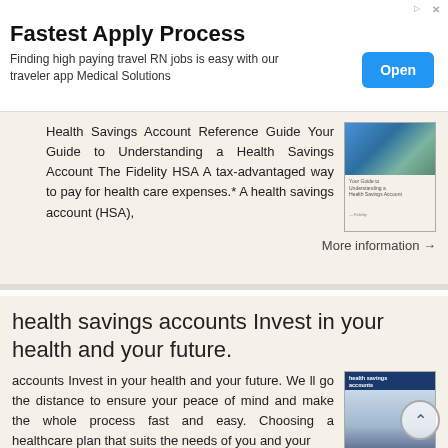Fastest Apply Process
Finding high paying travel RN jobs is easy with our traveler app Medical Solutions
Health Savings Account Reference Guide Your Guide to Understanding a Health Savings Account The Fidelity HSA A tax-advantaged way to pay for health care expenses.* A health savings account (HSA),
More information →
health savings accounts Invest in your health and your future.
accounts Invest in your health and your future. We ll go the distance to ensure your peace of mind and make the whole process fast and easy. Choosing a healthcare plan that suits the needs of you and your